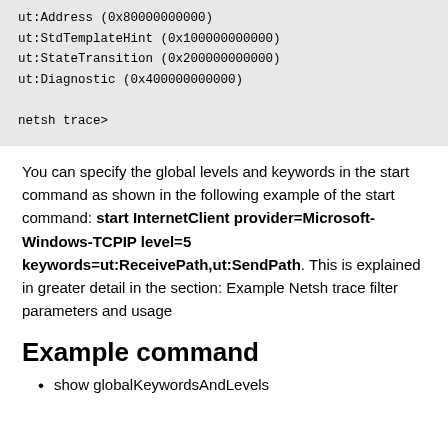ut:Address (0x80000000000)
ut:StdTemplateHint (0x100000000000)
ut:StateTransition (0x200000000000)
ut:Diagnostic (0x400000000000)

netsh trace>
You can specify the global levels and keywords in the start command as shown in the following example of the start command: start InternetClient provider=Microsoft-Windows-TCPIP level=5 keywords=ut:ReceivePath,ut:SendPath. This is explained in greater detail in the section: Example Netsh trace filter parameters and usage
Example command
show globalKeywordsAndLevels